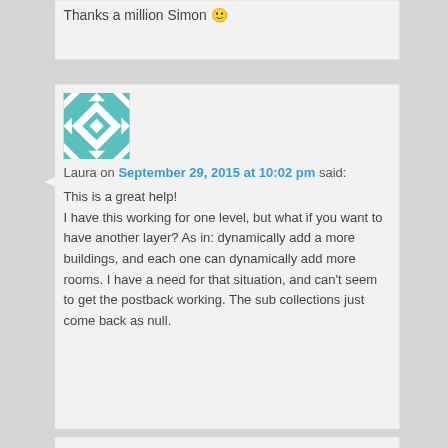Thanks a million Simon 🙂
[Figure (illustration): Avatar image with teal and white geometric star/diamond pattern]
Laura on September 29, 2015 at 10:02 pm said:
This is a great help!
I have this working for one level, but what if you want to have another layer? As in: dynamically add a more buildings, and each one can dynamically add more rooms. I have a need for that situation, and can't seem to get the postback working. The sub collections just come back as null.